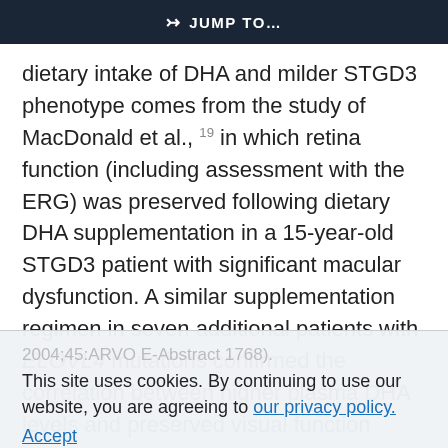JUMP TO…
dietary intake of DHA and milder STGD3 phenotype comes from the study of MacDonald et al., 19 in which retina function (including assessment with the ERG) was preserved following dietary DHA supplementation in a 15-year-old STGD3 patient with significant macular dysfunction. A similar supplementation regimen in seven additional patients with ELOVL4 mutations confirmed the correlation between higher plasma DHA levels and preserved visual function (MacDonald IM, et al. IOVS 2004;45:ARVO E-Abstract 1768).
This site uses cookies. By continuing to use our website, you are agreeing to our privacy policy. Accept